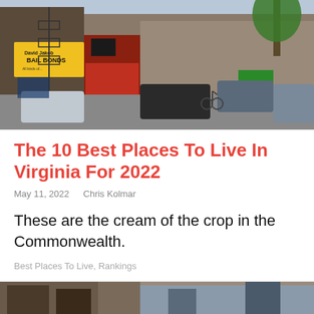[Figure (photo): Street photo of an urban area with bail bond shops, brick buildings, fire escapes, parked cars, and a cyclist in the road]
The 10 Best Places To Live In Virginia For 2022
May 11, 2022    Chris Kolmar
These are the cream of the crop in the Commonwealth.
Best Places To Live, Rankings
[Figure (photo): Partial street photo at bottom of page showing building facades]